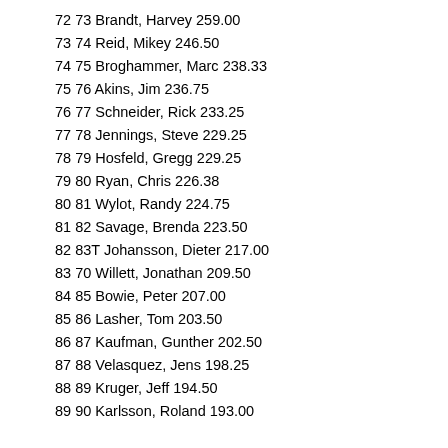72 73 Brandt, Harvey 259.00
73 74 Reid, Mikey 246.50
74 75 Broghammer, Marc 238.33
75 76 Akins, Jim 236.75
76 77 Schneider, Rick 233.25
77 78 Jennings, Steve 229.25
78 79 Hosfeld, Gregg 229.25
79 80 Ryan, Chris 226.38
80 81 Wylot, Randy 224.75
81 82 Savage, Brenda 223.50
82 83T Johansson, Dieter 217.00
83 70 Willett, Jonathan 209.50
84 85 Bowie, Peter 207.00
85 86 Lasher, Tom 203.50
86 87 Kaufman, Gunther 202.50
87 88 Velasquez, Jens 198.25
88 89 Kruger, Jeff 194.50
89 90 Karlsson, Roland 193.00